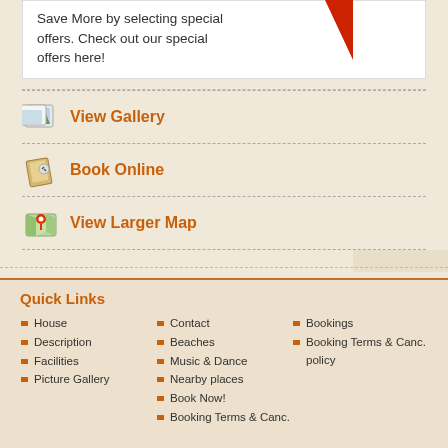Save More by selecting special offers. Check out our special offers here!
View Gallery
Book Online
View Larger Map
Quick Links
House
Description
Facilities
Picture Gallery
Contact
Beaches
Music & Dance
Nearby places
Book Now!
Booking Terms & Canc.
Bookings
Booking Terms & Canc. policy